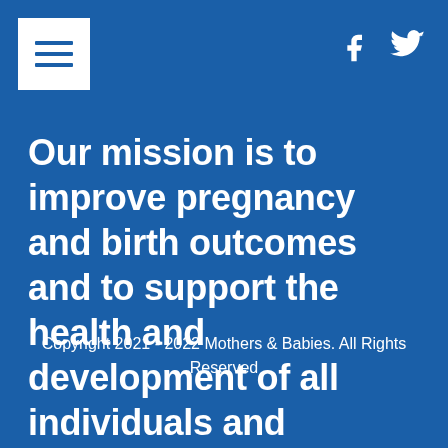[Figure (other): Hamburger menu button icon (three white horizontal lines on white square background)]
[Figure (other): Facebook and Twitter social media icons in white]
Our mission is to improve pregnancy and birth outcomes and to support the health and development of all individuals and families.
Copyright 2021 - 2022 Mothers & Babies. All Rights Reserved